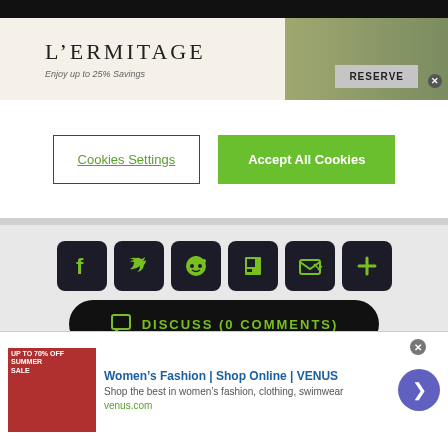[Figure (screenshot): L'Ermitage hotel advertisement banner with text 'L'ERMITAGE' and 'Enjoy up to 25% Savings' and a RESERVE button, showing outdoor hotel pool/lounge area]
[Figure (screenshot): Cookie consent buttons: 'Cookies Settings' (outlined) and 'Accept All Cookies' (green filled)]
[Figure (infographic): Social sharing icon buttons (Facebook, Twitter, Reddit, Flipboard, Email, More) in dark rounded squares with green icons, and a black pill-shaped 'DISCUSS (0 COMMENTS)' button]
ABOUT THE AUTHOR
[Figure (screenshot): Bottom advertisement: Women's Fashion | Shop Online | VENUS - Shop the best in women's fashion, clothing, swimwear - venus.com, with Summer Sale thumbnail and arrow button]